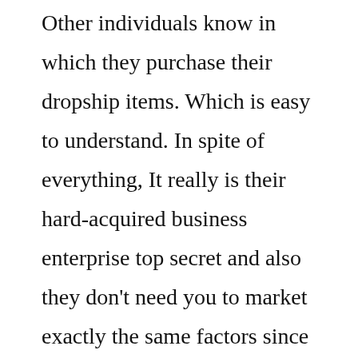Other individuals know in which they purchase their dropship items. Which is easy to understand. In spite of everything, It really is their hard-acquired business enterprise top secret and also they don't need you to market exactly the same factors since they do.
Here comes the good news: You will find wholesale dropship directories. These are directories that have lists of wholesale dropshippers which might be truthful. They Check out and verify the wholesalers and